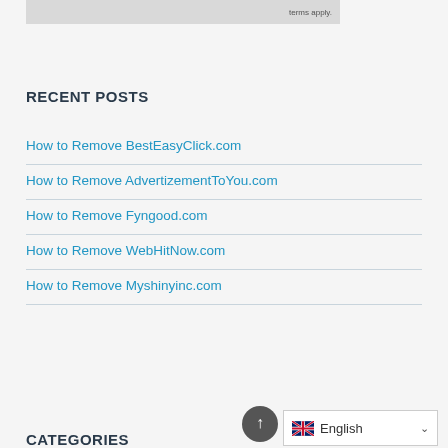[Figure (other): Ad banner with text 'terms apply.']
RECENT POSTS
How to Remove BestEasyClick.com
How to Remove AdvertizementToYou.com
How to Remove Fyngood.com
How to Remove WebHitNow.com
How to Remove Myshinyinc.com
CATEGORIES